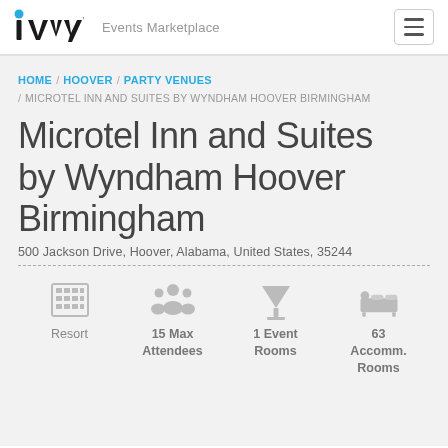iVvy Events Marketplace
HOME / HOOVER / PARTY VENUES / MICROTEL INN AND SUITES BY WYNDHAM HOOVER BIRMINGHAM
Microtel Inn and Suites by Wyndham Hoover Birmingham
500 Jackson Drive, Hoover, Alabama, United States, 35244
Resort | 15 Max Attendees | 1 Event Rooms | 63 Accomm. Rooms